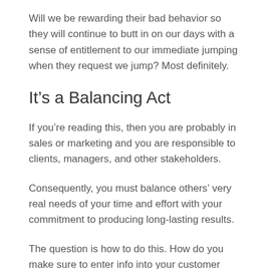Will we be rewarding their bad behavior so they will continue to butt in on our days with a sense of entitlement to our immediate jumping when they request we jump? Most definitely.
It’s a Balancing Act
If you’re reading this, then you are probably in sales or marketing and you are responsible to clients, managers, and other stakeholders.
Consequently, you must balance others’ very real needs of your time and effort with your commitment to producing long-lasting results.
The question is how to do this. How do you make sure to enter info into your customer relationship